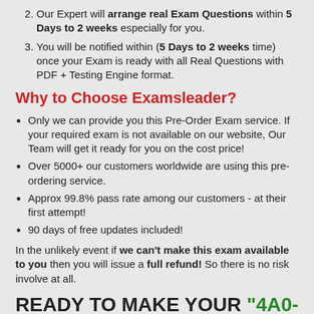Our Expert will arrange real Exam Questions within 5 Days to 2 weeks especially for you.
You will be notified within (5 Days to 2 weeks time) once your Exam is ready with all Real Questions with PDF + Testing Engine format.
Why to Choose Examsleader?
Only we can provide you this Pre-Order Exam service. If your required exam is not available on our website, Our Team will get it ready for you on the cost price!
Over 5000+ our customers worldwide are using this pre-ordering service.
Approx 99.8% pass rate among our customers - at their first attempt!
90 days of free updates included!
In the unlikely event if we can't make this exam available to you then you will issue a full refund! So there is no risk involve at all.
READY TO MAKE YOUR "4A0-D01" PRE ORDER?